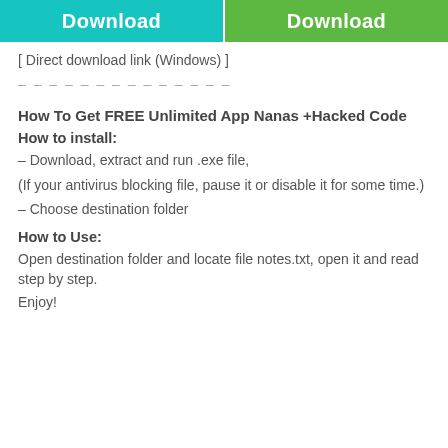[Figure (other): Two download buttons side by side: left button teal colored labeled 'Download', right button green colored labeled 'Download']
[ Direct download link (Windows) ]
– – – – – – – – – – – – – –
How To Get FREE Unlimited App Nanas +Hacked Code
How to install:
– Download, extract and run .exe file,
(If your antivirus blocking file, pause it or disable it for some time.)
– Choose destination folder
How to Use:
Open destination folder and locate file notes.txt, open it and read step by step.
Enjoy!